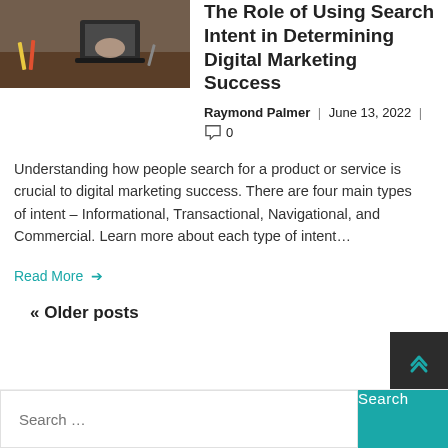[Figure (photo): Photo of a person working on a laptop with tools/pencils on a wooden desk]
The Role of Using Search Intent in Determining Digital Marketing Success
Raymond Palmer | June 13, 2022 | 0
Understanding how people search for a product or service is crucial to digital marketing success. There are four main types of intent – Informational, Transactional, Navigational, and Commercial. Learn more about each type of intent…
Read More →
« Older posts